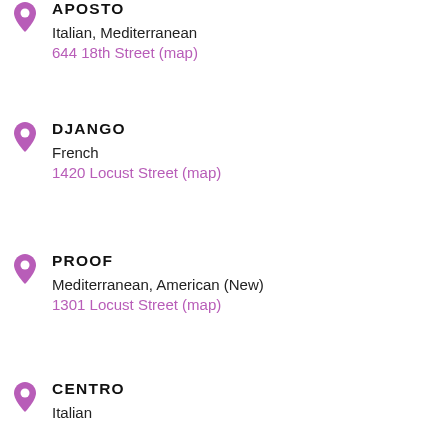APOSTO
Italian, Mediterranean
644 18th Street (map)
DJANGO
French
1420 Locust Street (map)
PROOF
Mediterranean, American (New)
1301 Locust Street (map)
CENTRO
Italian